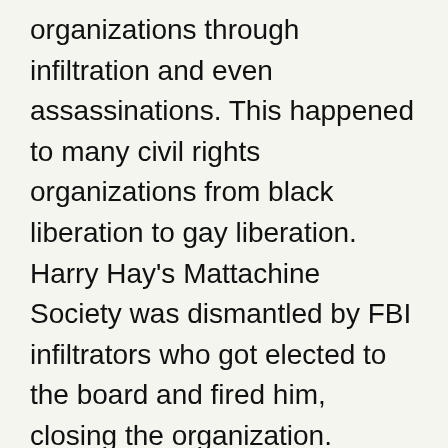organizations through infiltration and even assassinations. This happened to many civil rights organizations from black liberation to gay liberation. Harry Hay's Mattachine Society was dismantled by FBI infiltrators who got elected to the board and fired him, closing the organization.
At the time, Harry Hay was a member of the American Communist Party and a member of multiple Antifa groups. This led him and others to articulate a new kind of activist organization